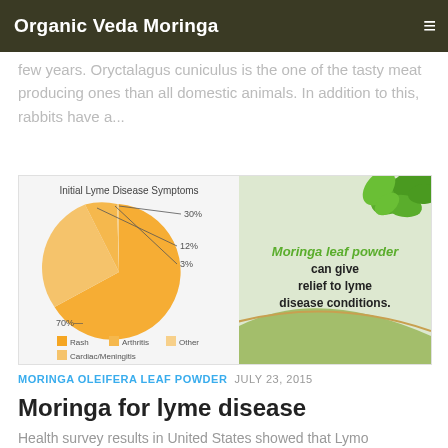Organic Veda Moringa
few years. Oryctalagus cuniculus is the one of the tasty meat producing ones than all domestic animals. In addition to this, rabbits have a...
[Figure (pie-chart): Pie chart of Initial Lyme Disease Symptoms with a moringa leaf powder infographic on the right side]
MORINGA OLEIFERA LEAF POWDER  JULY 23, 2015
Moringa for lyme disease
Health survey results in United States showed that Lymo